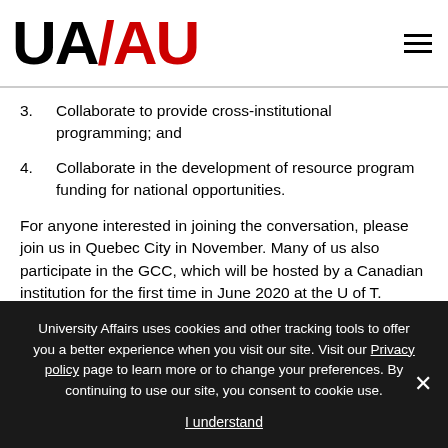UA/AU logo and navigation menu
3.  Collaborate to provide cross-institutional programming; and
4.  Collaborate in the development of resource program funding for national opportunities.
For anyone interested in joining the conversation, please join us in Quebec City in November. Many of us also participate in the GCC, which will be hosted by a Canadian institution for the first time in June 2020 at the U of T.
University Affairs uses cookies and other tracking tools to offer you a better experience when you visit our site. Visit our Privacy policy page to learn more or to change your preferences. By continuing to use our site, you consent to cookie use. I understand